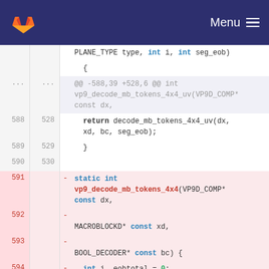Menu (GitLab navigation bar)
Code diff showing deletion of vp9_decode_mb_tokens_4x4 function. Lines 588-530 show return decode_mb_tokens_4x4_uv(dx, xd, bc, seg_eob); and closing brace. Lines 591-596 (deleted) show static int vp9_decode_mb_tokens_4x4 function signature with parameters VP9D_COMP* const dx, MACROBLOCKD* const xd, BOOL_DECODER* const bc, int i, eobtotal = 0; const int segment_id = xd->mode_info_context->mbmi.segment_id; const int seg_eob = get_eob(xd...